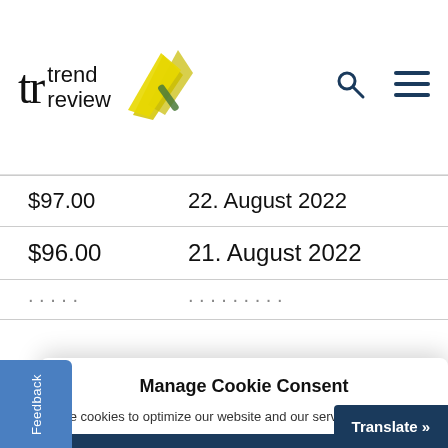[Figure (logo): Trend Review logo with stylized 'tr' letters and yellow star graphic, plus search and menu icons in navigation bar]
| $97.00 | 22. August 2022 |
| $96.00 | 21. August 2022 |
| ... | ... |
Manage Cookie Consent
use cookies to optimize our website and our service.
Accept all
Deny
Settings
Translate »